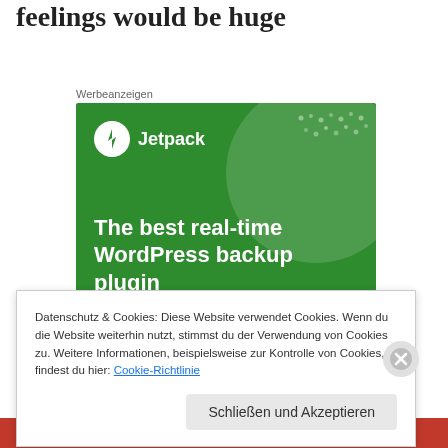feelings would be huge
Werbeanzeigen
[Figure (illustration): Jetpack advertisement banner with green background, showing Jetpack logo and text 'The best real-time WordPress backup plugin']
Datenschutz & Cookies: Diese Website verwendet Cookies. Wenn du die Website weiterhin nutzt, stimmst du der Verwendung von Cookies zu. Weitere Informationen, beispielsweise zur Kontrolle von Cookies, findest du hier: Cookie-Richtlinie
Schließen und Akzeptieren